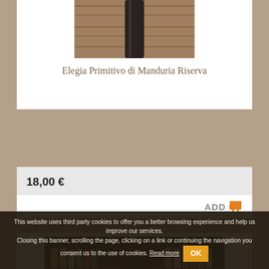[Figure (photo): Dark wine bottle on wooden surface, partially cropped at top, viewed from above]
Elegia Primitivo di Manduria Riserva
18,00 €
ADD
[Figure (photo): Wine bottle with red label in a liquor store, shelves of bottles visible in background]
This website uses third party cookies to offer you a better browsing experience and help us improve our services. Closing this banner, scrolling the page, clicking on a link or continuing the navigation you consent us to the use of cookies. Read more OK